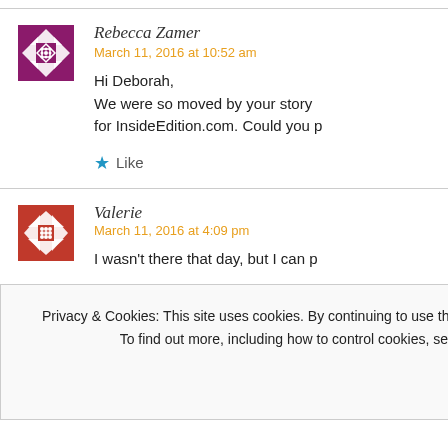[Figure (illustration): Purple geometric quilt-pattern avatar for Rebecca Zamer]
Rebecca Zamer
March 11, 2016 at 10:52 am
Hi Deborah,
We were so moved by your story for InsideEdition.com. Could you p
Like
[Figure (illustration): Red geometric quilt-pattern avatar for Valerie]
Valerie
March 11, 2016 at 4:09 pm
I wasn't there that day, but I can p
Privacy & Cookies: This site uses cookies. By continuing to use this website, you agree to their use.
To find out more, including how to control cookies, see here: Cookie Policy
Close and accept